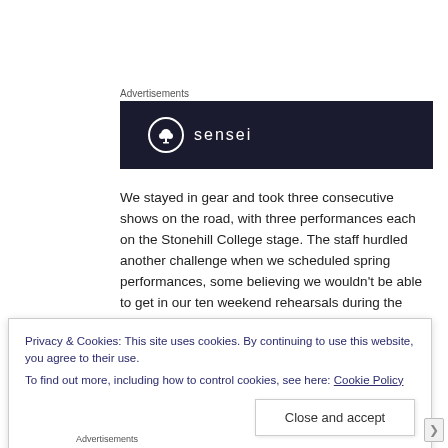Advertisements
[Figure (logo): Sensei brand logo on dark navy background with tree/person icon in circle]
We stayed in gear and took three consecutive shows on the road, with three performances each on the Stonehill College stage. The staff hurdled another challenge when we scheduled spring performances, some believing we wouldn't be able to get in our ten weekend rehearsals during the winter, but Mother
Privacy & Cookies: This site uses cookies. By continuing to use this website, you agree to their use.
To find out more, including how to control cookies, see here: Cookie Policy
Close and accept
Advertisements